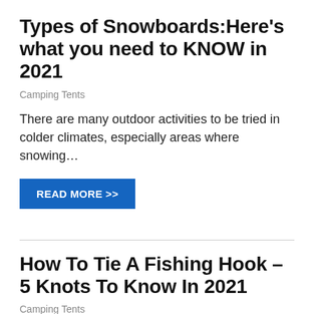Types of Snowboards:Here's what you need to KNOW in 2021
Camping Tents
There are many outdoor activities to be tried in colder climates, especially areas where snowing…
READ MORE >>
How To Tie A Fishing Hook – 5 Knots To Know In 2021
Camping Tents
Most of the world was brought to a standstill by coronavirus pandemic last year….